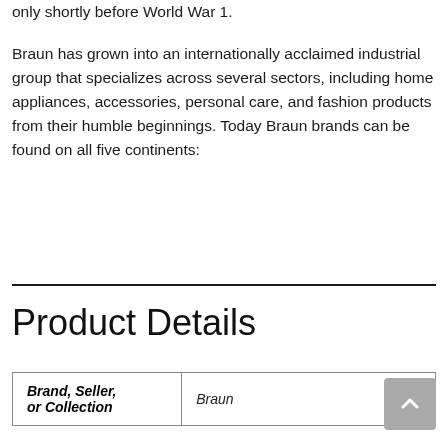only shortly before World War 1.

Braun has grown into an internationally acclaimed industrial group that specializes across several sectors, including home appliances, accessories, personal care, and fashion products from their humble beginnings. Today Braun brands can be found on all five continents:
Product Details
| Brand, Seller, or Collection |  |
| --- | --- |
| Brand, Seller, or Collection | Braun |